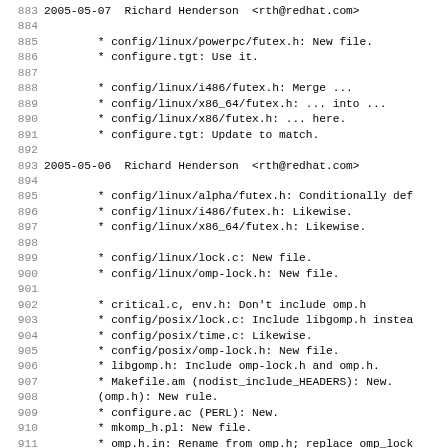883 2005-05-07  Richard Henderson  <rth@redhat.com>
884
885         * config/linux/powerpc/futex.h: New file.
886         * configure.tgt: Use it.
887
888         * config/linux/i486/futex.h: Merge ...
889         * config/linux/x86_64/futex.h: ... into ...
890         * config/linux/x86/futex.h: ... here.
891         * configure.tgt: Update to match.
892
893 2005-05-06  Richard Henderson  <rth@redhat.com>
894
895         * config/linux/alpha/futex.h: Conditionally def
896         * config/linux/i486/futex.h: Likewise.
897         * config/linux/x86_64/futex.h: Likewise.
898
899         * config/linux/lock.c: New file.
900         * config/linux/omp-lock.h: New file.
901
902         * critical.c, env.h: Don't include omp.h
903         * config/posix/lock.c: Include libgomp.h instea
904         * config/posix/time.c: Likewise.
905         * config/posix/omp-lock.h: New file.
906         * libgomp.h: Include omp-lock.h and omp.h.
907         * Makefile.am (nodist_include_HEADERS): New.
908         (omp.h): New rule.
909         * configure.ac (PERL): New.
910         * mkomp_h.pl: New file.
911         * omp.h.in: Rename from omp.h; replace omp_lock
912         with templates.
913         * Makefile.in, configure, testsuite/Makefile.in
914